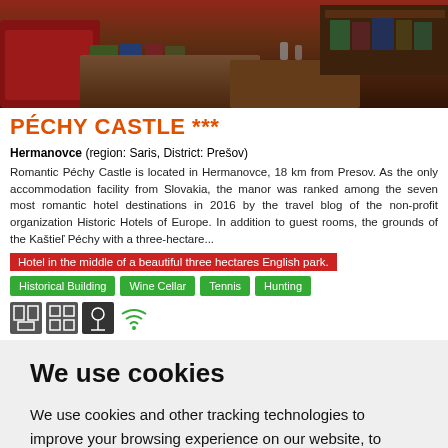[Figure (photo): Interior photo of a restaurant/bar area with red upholstered seating, wooden tables, and books/items on shelves, with warm lighting]
PÉCHY CASTLE ***
Hermanovce (region: Saris, District: Prešov)
Romantic Péchy Castle is located in Hermanovce, 18 km from Presov. As the only accommodation facility from Slovakia, the manor was ranked among the seven most romantic hotel destinations in 2016 by the travel blog of the non-profit organization Historic Hotels of Europe. In addition to guest rooms, the grounds of the Kaštieľ Péchy with a three-hectare...
Hotel in the middle of a beautiful three hectares English park.
Historical Building
Wine Cellar
Tennis
Hunting
[Figure (infographic): Four small amenity icons: phone/conference, grid/rooms, meal/food, wifi]
We use cookies
We use cookies and other tracking technologies to improve your browsing experience on our website, to show you personalized content and targeted ads, to analyze our website traffic, and